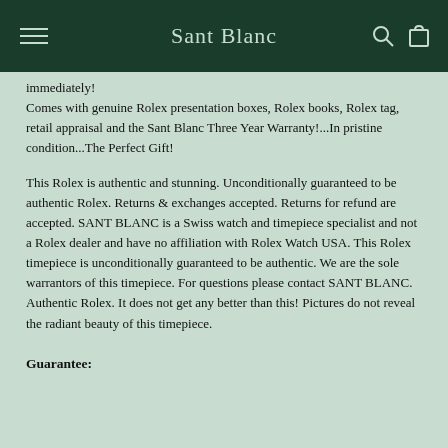Sant Blanc
immediately!
Comes with genuine Rolex presentation boxes, Rolex books, Rolex tag, retail appraisal and the Sant Blanc Three Year Warranty!...In pristine condition...The Perfect Gift!
This Rolex is authentic and stunning. Unconditionally guaranteed to be authentic Rolex. Returns & exchanges accepted. Returns for refund are accepted. SANT BLANC is a Swiss watch and timepiece specialist and not a Rolex dealer and have no affiliation with Rolex Watch USA. This Rolex timepiece is unconditionally guaranteed to be authentic. We are the sole warrantors of this timepiece. For questions please contact SANT BLANC.
Authentic Rolex. It does not get any better than this! Pictures do not reveal the radiant beauty of this timepiece.
Guarantee: